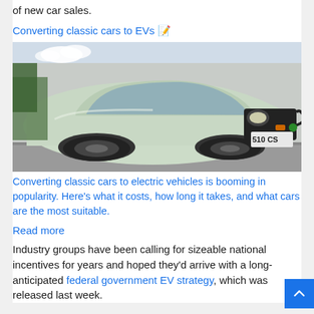of new car sales.
Converting classic cars to EVs
[Figure (photo): A pale green/mint classic car (similar to a Datsun 510) shown from a low front-three-quarter angle, plugged into an EV charger. The car is parked on a concrete surface near a grey wall. License plate reads '510 CS'.]
Converting classic cars to electric vehicles is booming in popularity. Here's what it costs, how long it takes, and what cars are the most suitable.
Read more
Industry groups have been calling for sizeable national incentives for years and hoped they'd arrive with a long-anticipated federal government EV strategy, which was released last week.